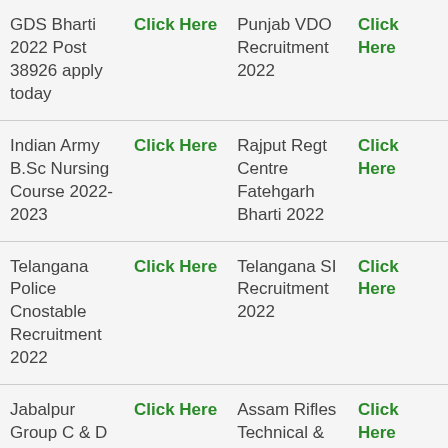| Recruitment | Link | Recruitment | Link |
| --- | --- | --- | --- |
| GDS Bharti 2022 Post 38926 apply today | Click Here | Punjab VDO Recruitment 2022 | Click Here |
| Indian Army B.Sc Nursing Course 2022-2023 | Click Here | Rajput Regt Centre Fatehgarh Bharti 2022 | Click Here |
| Telangana Police Cnostable Recruitment 2022 | Click Here | Telangana SI Recruitment 2022 | Click Here |
| Jabalpur Group C & D Bharti 2022 | Click Here | Assam Rifles Technical & Tradesmen | Click Here |